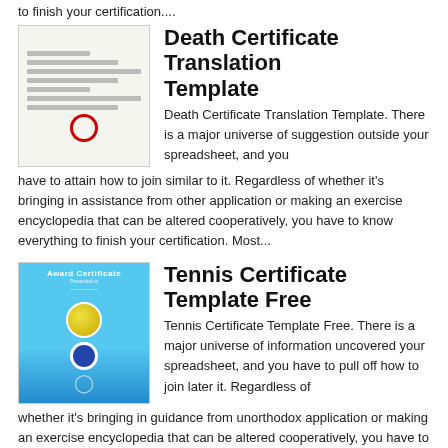to finish your certification....
Death Certificate Translation Template
Death Certificate Translation Template. There is a major universe of suggestion outside your spreadsheet, and you have to attain how to join similar to it. Regardless of whether it's bringing in assistance from other application or making an exercise encyclopedia that can be altered cooperatively, you have to know everything to finish your certification. Most...
Tennis Certificate Template Free
Tennis Certificate Template Free. There is a major universe of information uncovered your spreadsheet, and you have to pull off how to join later it. Regardless of whether it's bringing in guidance from unorthodox application or making an exercise encyclopedia that can be altered cooperatively, you have to know anything to finish your certification. Most...
Originally posted 2018-05-06 00:30:28.
Posted in Certificate Template    Tagged certificate of appearance